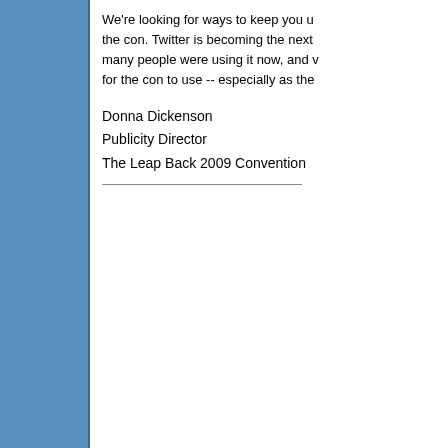We're looking for ways to keep you updated during the con. Twitter is becoming the next big thing, so many people were using it now, and we thought it great for the con to use -- especially as the
Donna Dickenson
Publicity Director
The Leap Back 2009 Convention
10-01-2008, 09:51 AM
Josh
Control Room Technician
Join Date: Mar 2007
Location: Lawrence, KS
Posts: 104
[Figure (photo): Photo of a man in a dark suit holding a small device]
I use Twitter. I probably send about a friend of mine sends in an hour. Basically group text messages.
http://www.twitter.com/joshcmagic fo